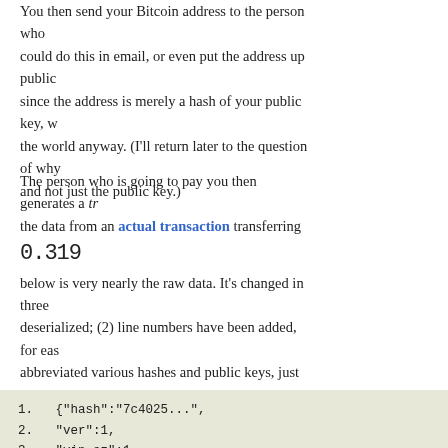You then send your Bitcoin address to the person who could do this in email, or even put the address up public since the address is merely a hash of your public key, w the world anyway. (I'll return later to the question of why and not just the public key.)
The person who is going to pay you then generates a tr the data from an actual transaction transferring 0.319 below is very nearly the raw data. It's changed in three deserialized; (2) line numbers have been added, for eas abbreviated various hashes and public keys, just putting digits of each, when in reality they are much longer. He
1.   {"hash":"7c4025...",
2.   "ver":1,
3.   "vin_sz":1,
4.   "vout_sz":1,
5.   "lock_time":0,
6.   "size":224,
7.   "in":[
8.      {"prev_out":
9.       {"hash":"3007ac..."}